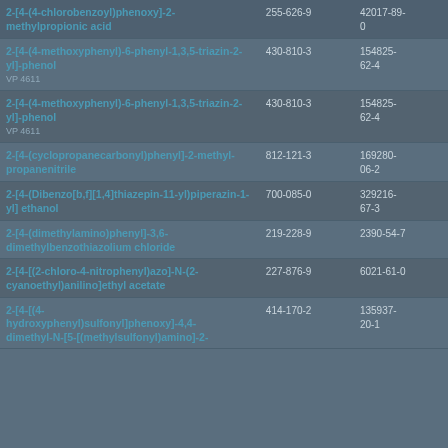| Name | EC No. | CAS No. |
| --- | --- | --- |
| 2-[4-(4-chlorobenzoyl)phenoxy]-2-methylpropionic acid | 255-626-9 | 42017-89-0 |
| 2-[4-(4-methoxyphenyl)-6-phenyl-1,3,5-triazin-2-yl]-phenol
VP 4611 | 430-810-3 | 154825-62-4 |
| 2-[4-(4-methoxyphenyl)-6-phenyl-1,3,5-triazin-2-yl]-phenol
VP 4611 | 430-810-3 | 154825-62-4 |
| 2-[4-(cyclopropanecarbonyl)phenyl]-2-methyl-propanenitrile | 812-121-3 | 169280-06-2 |
| 2-[4-(Dibenzo[b,f][1,4]thiazepin-11-yl)piperazin-1-yl] ethanol | 700-085-0 | 329216-67-3 |
| 2-[4-(dimethylamino)phenyl]-3,6-dimethylbenzothiazolium chloride | 219-228-9 | 2390-54-7 |
| 2-[4-[(2-chloro-4-nitrophenyl)azo]-N-(2-cyanoethyl)anilino]ethyl acetate | 227-876-9 | 6021-61-0 |
| 2-[4-[(4-hydroxyphenyl)sulfonyl]phenoxy]-4,4-dimethyl-N-[5-[(methylsulfonyl)amino]-2- | 414-170-2 | 135937-20-1 |